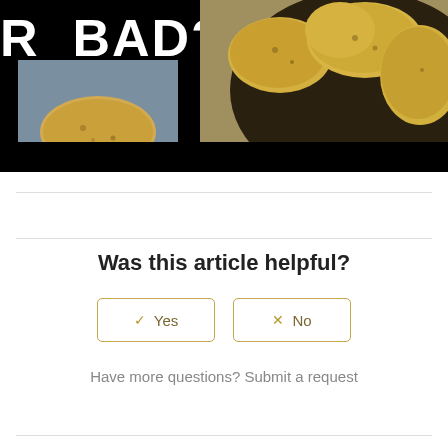[Figure (photo): Partial image showing text 'R BAD?' in white bold font on black background, with yellow potatoes visible on a dark plate with burlap, food photography style.]
Was this article helpful?
Yes
No
Have more questions? Submit a request